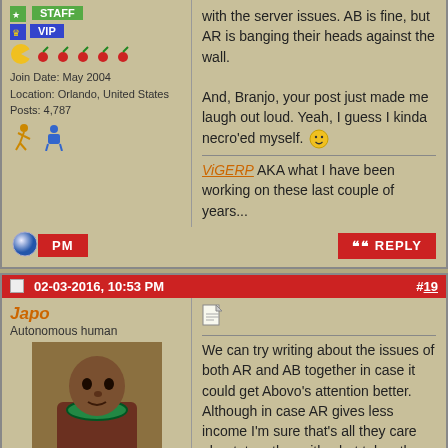with the server issues. AB is fine, but AR is banging their heads against the wall.

And, Branjo, your post just made me laugh out loud. Yeah, I guess I kinda necro'ed myself. :)

ViGERP AKA what I have been working on these last couple of years...
Join Date: May 2004
Location: Orlando, United States
Posts: 4,787
02-03-2016, 10:53 PM   #19
Japo
Autonomous human
We can try writing about the issues of both AR and AB together in case it could get Abovo's attention better. Although in case AR gives less income I'm sure that's all they care about, together with what takes the minimal effort to fix... But we can try.
Life starts every day anew. Prospects get a reset.